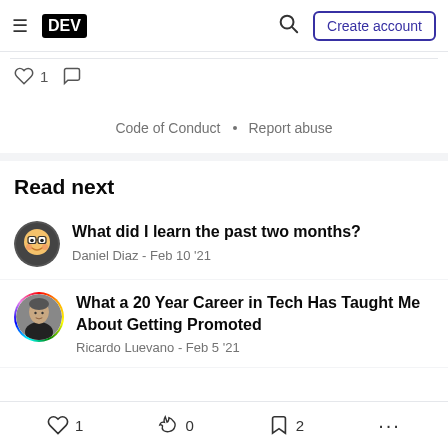DEV | Create account
♡ 1  ○
Code of Conduct • Report abuse
Read next
What did I learn the past two months? — Daniel Diaz - Feb 10 '21
What a 20 Year Career in Tech Has Taught Me About Getting Promoted — Ricardo Luevano - Feb 5 '21
♡ 1  🔥 0  □ 2  ...